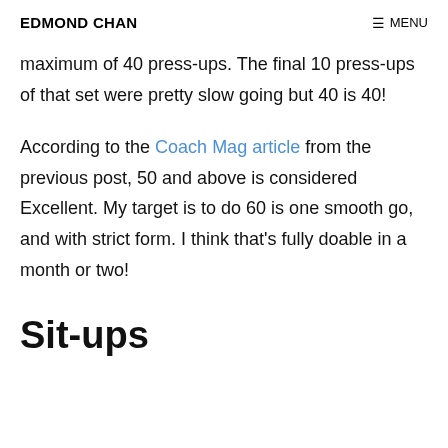EDMOND CHAN   ≡ MENU
maximum of 40 press-ups. The final 10 press-ups of that set were pretty slow going but 40 is 40!
According to the Coach Mag article from the previous post, 50 and above is considered Excellent. My target is to do 60 is one smooth go, and with strict form. I think that's fully doable in a month or two!
Sit-ups